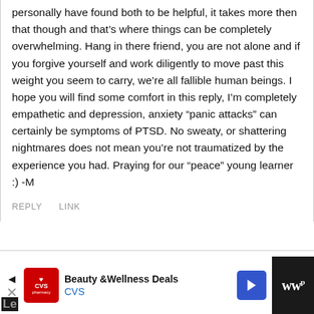personally have found both to be helpful, it takes more then that though and that’s where things can be completely overwhelming. Hang in there friend, you are not alone and if you forgive yourself and work diligently to move past this weight you seem to carry, we’re all fallible human beings. I hope you will find some comfort in this reply, I’m completely empathetic and depression, anxiety “panic attacks” can certainly be symptoms of PTSD. No sweaty, or shattering nightmares does not mean you’re not traumatized by the experience you had. Praying for our “peace” young learner :) -M
REPLY   LINK
[Figure (screenshot): CVS Pharmacy advertisement banner showing Beauty & Wellness Deals with CVS logo and navigation arrow icon]